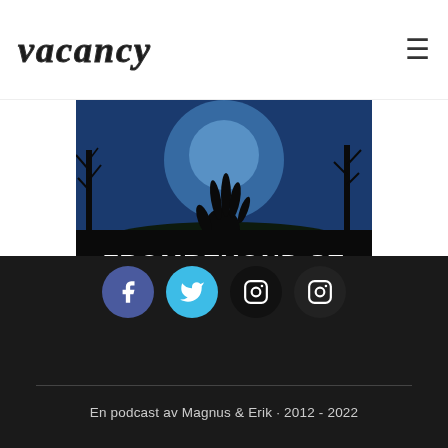vacancy
[Figure (illustration): Horror podcast banner image with a zombie hand rising from the ground against a blue moonlit sky with bare trees, text reading FROMBEYOND.SE in bold white letters]
[Figure (infographic): Four social media icon circles: Facebook (blue-purple), Twitter (light blue), Instagram (black), Instagram (black)]
En podcast av Magnus & Erik · 2012 - 2022